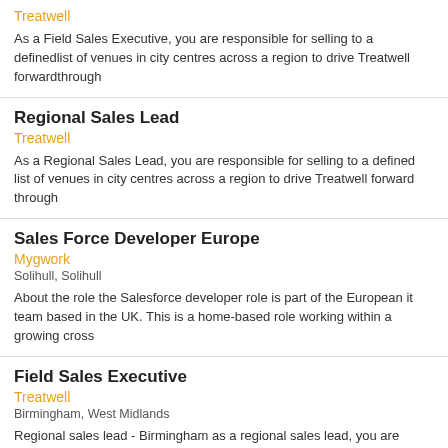Treatwell
As a Field Sales Executive, you are responsible for selling to a definedlist of venues in city centres across a region to drive Treatwell forwardthrough
Regional Sales Lead
Treatwell
As a Regional Sales Lead, you are responsible for selling to a defined list of venues in city centres across a region to drive Treatwell forward through
Sales Force Developer Europe
Mygwork
Solihull, Solihull
About the role the Salesforce developer role is part of the European it team based in the UK. This is a home-based role working within a growing cross
Field Sales Executive
Treatwell
Birmingham, West Midlands
Regional sales lead - Birmingham as a regional sales lead, you are responsible for selling to a defined list of venues in city centres across a region to drive
Field Sales Executive